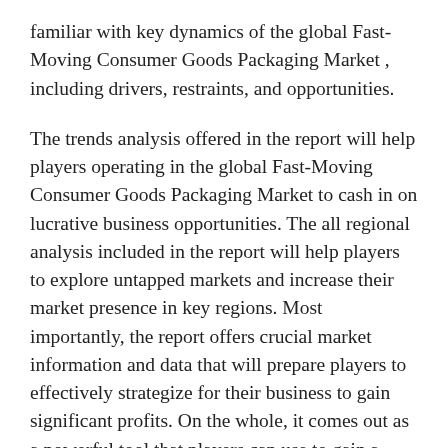familiar with key dynamics of the global Fast-Moving Consumer Goods Packaging Market , including drivers, restraints, and opportunities.
The trends analysis offered in the report will help players operating in the global Fast-Moving Consumer Goods Packaging Market to cash in on lucrative business opportunities. The all regional analysis included in the report will help players to explore untapped markets and increase their market presence in key regions. Most importantly, the report offers crucial market information and data that will prepare players to effectively strategize for their business to gain significant profits. On the whole, it comes out as a powerful tool that players can use to gain a competitive edge in the global Fast-Moving Consumer Goods Packaging Market .